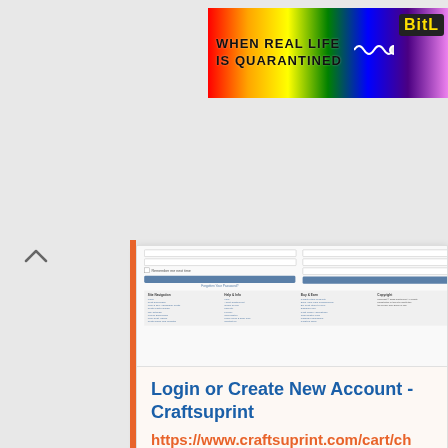[Figure (screenshot): Rainbow banner advertisement with text WHEN REAL LIFE IS QUARANTINED and BitL logo on right]
[Figure (screenshot): Miniature screenshot of Craftsuprint website showing login and create account form with navigation footer]
Login or Create New Account - Craftsuprint
https://www.craftsuprint.com/cart/checkout.cfm
Craftsuprint is the leading digital hobby crafts and craft downloads website. Upload and download all sorts of craft products, tutorials, videos, and much more.